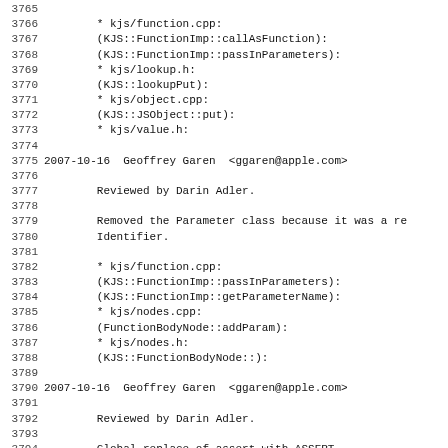3765
3766         * kjs/function.cpp:
3767         (KJS::FunctionImp::callAsFunction):
3768         (KJS::FunctionImp::passInParameters):
3769         * kjs/lookup.h:
3770         (KJS::lookupPut):
3771         * kjs/object.cpp:
3772         (KJS::JSObject::put):
3773         * kjs/value.h:
3774
3775 2007-10-16  Geoffrey Garen  <ggaren@apple.com>
3776
3777         Reviewed by Darin Adler.
3778
3779         Removed the Parameter class because it was a re
3780         Identifier.
3781
3782         * kjs/function.cpp:
3783         (KJS::FunctionImp::passInParameters):
3784         (KJS::FunctionImp::getParameterName):
3785         * kjs/nodes.cpp:
3786         (FunctionBodyNode::addParam):
3787         * kjs/nodes.h:
3788         (KJS::FunctionBodyNode::):
3789
3790 2007-10-16  Geoffrey Garen  <ggaren@apple.com>
3791
3792         Reviewed by Darin Adler.
3793
3794         Global replace of assert with ASSERT.
3795
3796 2007-10-16  Adam Roben  <aroben@apple.com>
3797